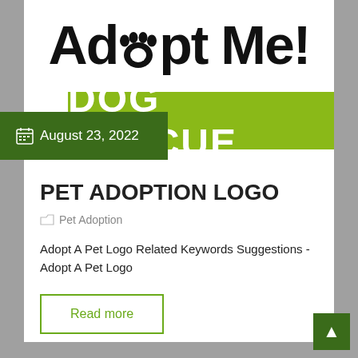[Figure (logo): Adopt Me! pet rescue logo with paw print replacing the 'o' in Adopt, and a green DOG RESCUE banner below]
August 23, 2022
PET ADOPTION LOGO
Pet Adoption
Adopt A Pet Logo Related Keywords Suggestions - Adopt A Pet Logo
Read more